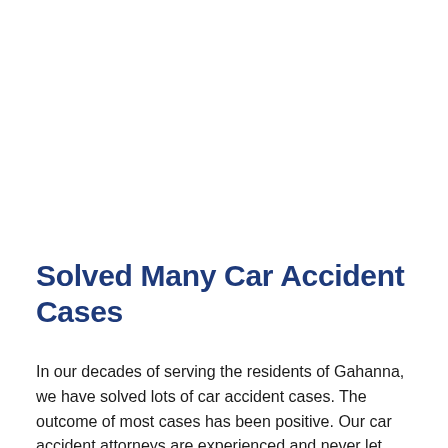Solved Many Car Accident Cases
In our decades of serving the residents of Gahanna, we have solved lots of car accident cases. The outcome of most cases has been positive. Our car accident attorneys are experienced and never let you down. Your confidence in us should increase after knowing that